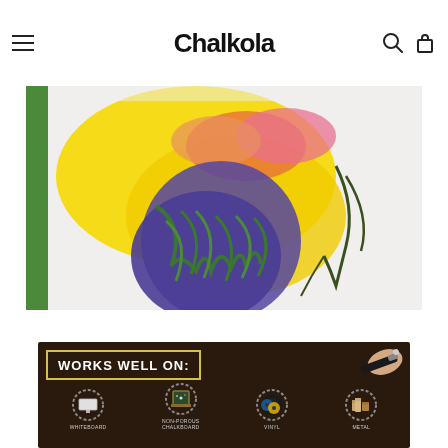Chalkola
[Figure (photo): Close-up photo of colorful chalk marker artwork on a white surface — bright yellow, purple/blue, pink, and green colors forming a bird or butterfly shape.]
[Figure (infographic): Dark brown infographic panel showing 'WORKS WELL ON:' with circles containing images of whiteboard, non-porous chalkboard, vinyl, and metal surfaces. A hand holding a chalk marker is shown in upper right.]